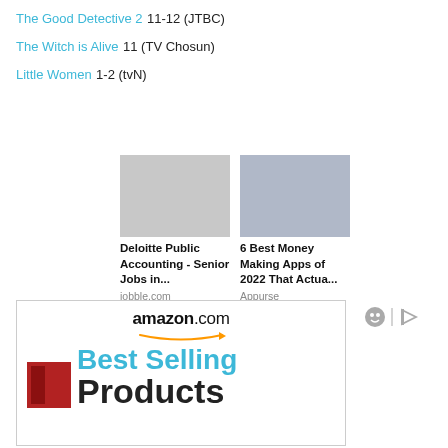The Good Detective 2 11-12 (JTBC)
The Witch is Alive 11 (TV Chosun)
Little Women 1-2 (tvN)
[Figure (infographic): Advertisement row with two ad cards: 'Deloitte Public Accounting - Senior Jobs in...' from jobble.com, and '6 Best Money Making Apps of 2022 That Actua...' from Appurse, with ad icons on the right.]
[Figure (infographic): Amazon.com advertisement box showing 'Best Selling Products' text with orange arrow logo and book images.]